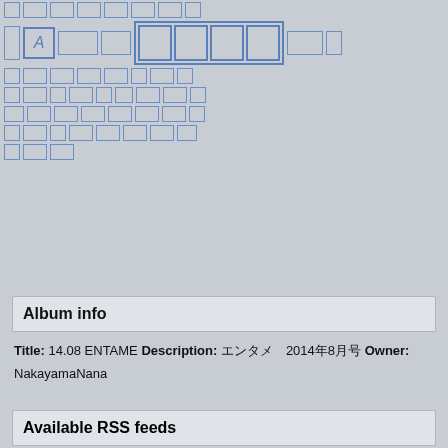[Figure (other): Grid of Japanese/CJK character placeholder boxes rendered as blue outlined rectangles on grey background, with one 'A' character visible]
Album info
Title: 14.08 ENTAME
Description: エンタメ　2014年8月号
Owner: NakayamaNana
Available RSS feeds